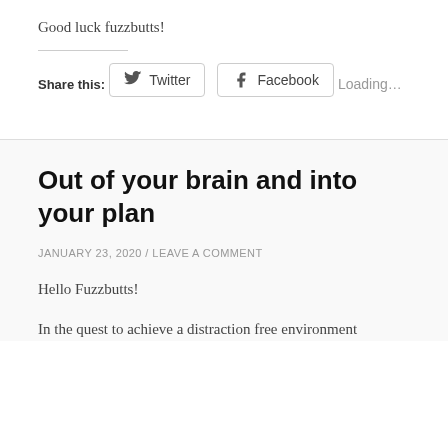Good luck fuzzbutts!
Share this:
[Figure (other): Social share buttons for Twitter and Facebook]
Loading...
Out of your brain and into your plan
JANUARY 23, 2020 / LEAVE A COMMENT
Hello Fuzzbutts!
In the quest to achieve a distraction free environment